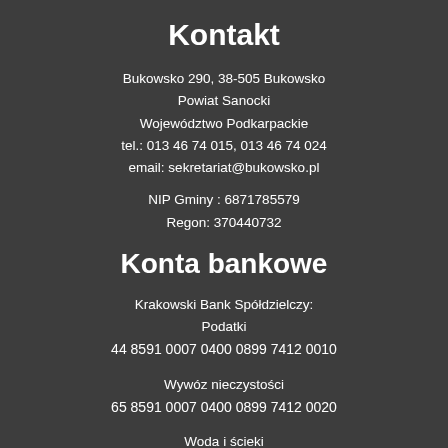Kontakt
Bukowsko 290, 38-505 Bukowsko
Powiat Sanocki
Województwo Podkarpackie
tel.: 013 46 74 015, 013 46 74 024
email: sekretariat@bukowsko.pl
NIP Gminy : 6871785579
Regon: 370440732
Konta bankowe
Krakowski Bank Spółdzielczy:
Podatki
44 8591 0007 0400 0899 7412 0010
Wywóz nieczystości
65 8591 0007 0400 0899 7412 0020
Woda i ścieki
58 8591 0007 0400 0890 0999 0004